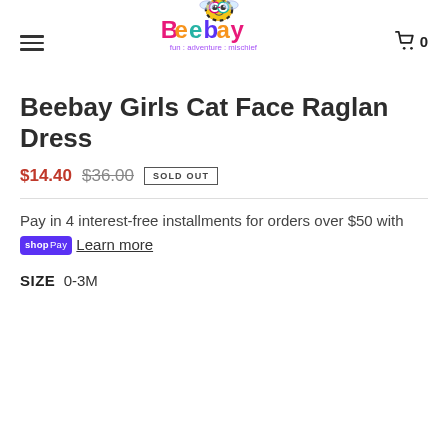[Figure (logo): Beebay brand logo with cartoon bee character, colorful text reading 'Beebay' in pink, orange, green, and teal. Tagline: 'fun : adventure : mischief' in purple.]
Beebay Girls Cat Face Raglan Dress
$14.40 $36.00 SOLD OUT
Pay in 4 interest-free installments for orders over $50 with shopPay Learn more
SIZE 0-3M